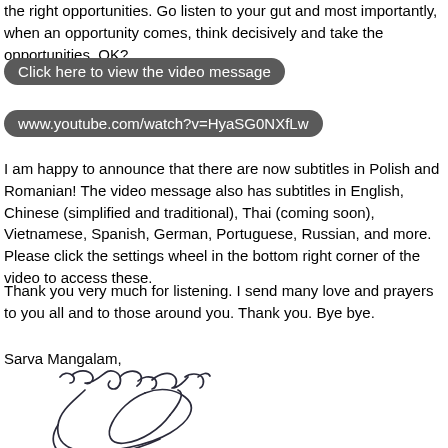the right opportunities. Go listen to your gut and most importantly, when an opportunity comes, think decisively and take the opportunities. OK?
Click here to view the video message
www.youtube.com/watch?v=HyaSG0NXfLw
I am happy to announce that there are now subtitles in Polish and Romanian! The video message also has subtitles in English, Chinese (simplified and traditional), Thai (coming soon), Vietnamese, Spanish, German, Portuguese, Russian, and more. Please click the settings wheel in the bottom right corner of the video to access these.
Thank you very much for listening. I send many love and prayers to you all and to those around you. Thank you. Bye bye.
Sarva Mangalam,
[Figure (illustration): A handwritten signature in dark ink, featuring cursive/script style writing with loops and flourishes.]